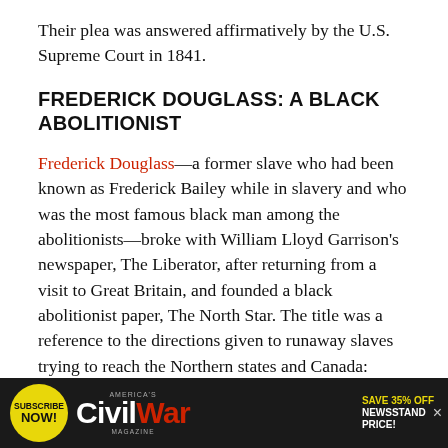Their plea was answered affirmatively by the U.S. Supreme Court in 1841.
FREDERICK DOUGLASS: A BLACK ABOLITIONIST
Frederick Douglass—a former slave who had been known as Frederick Bailey while in slavery and who was the most famous black man among the abolitionists—broke with William Lloyd Garrison's newspaper, The Liberator, after returning from a visit to Great Britain, and founded a black abolitionist paper, The North Star. The title was a reference to the directions given to runaway slaves trying to reach the Northern states and Canada: Follow the North Star. Garrison had earlier
[Figure (other): Advertisement banner for America's Civil War Magazine. Yellow circle with 'SUBSCRIBE NOW!' text on the left, magazine title 'Civil War' in white and red on black background in center, and 'SAVE 35% OFF NEWSSTAND PRICE!' in yellow and white text on the right.]